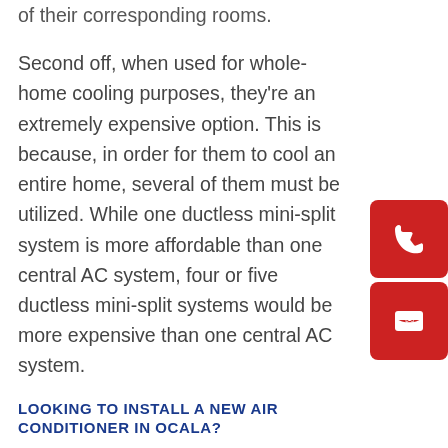of their corresponding rooms.
Second off, when used for whole-home cooling purposes, they're an extremely expensive option. This is because, in order for them to cool an entire home, several of them must be utilized. While one ductless mini-split system is more affordable than one central AC system, four or five ductless mini-split systems would be more expensive than one central AC system.
LOOKING TO INSTALL A NEW AIR CONDITIONER IN OCALA?
Now that we've reviewed your options, you might be interested in choosing one. If so, and if you're looking to install a new air conditioner in Ocala, in particular, we here at All American